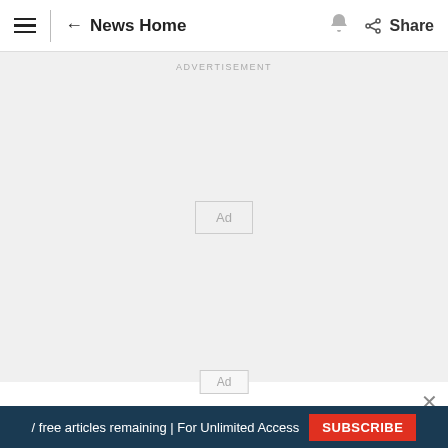≡  ← News Home  🔔  < Share
[Figure (other): Advertisement placeholder box with 'ADVERTISEMENT' label at top and 'Ad' box in center on light gray background]
At last year's global climate change conference
(partially visible subtitle line)
/ free articles remaining | For Unlimited Access  SUBSCRIBE